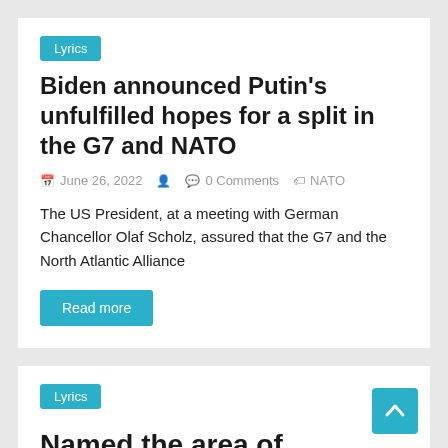Lyrics
Biden announced Putin's unfulfilled hopes for a split in the G7 and NATO
June 26, 2022   0 Comments   NATO
The US President, at a meeting with German Chancellor Olaf Scholz, assured that the G7 and the North Atlantic Alliance
Read more
Lyrics
Named the area of probable direct collision between Russia and NATO